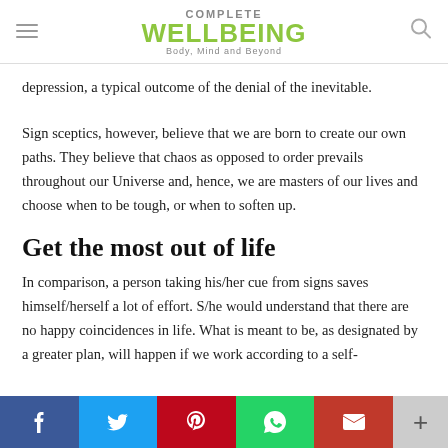COMPLETE WELLBEING Body, Mind and Beyond
depression, a typical outcome of the denial of the inevitable.
Sign sceptics, however, believe that we are born to create our own paths. They believe that chaos as opposed to order prevails throughout our Universe and, hence, we are masters of our lives and choose when to be tough, or when to soften up.
Get the most out of life
In comparison, a person taking his/her cue from signs saves himself/herself a lot of effort. S/he would understand that there are no happy coincidences in life. What is meant to be, as designated by a greater plan, will happen if we work according to a self-